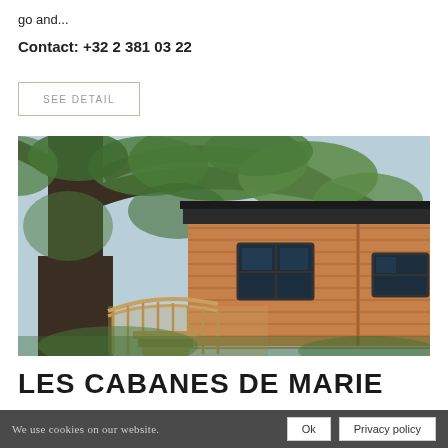go and...
Contact: +32 2 381 03 22
SEE DETAIL
[Figure (photo): A treehouse with horizontal cedar wood siding, a dark shingled roof, two square windows, and a curved wooden balcony railing, set among large leafy trees]
LES CABANES DE MARIE
We use cookies on our website.
Ok
Privacy policy